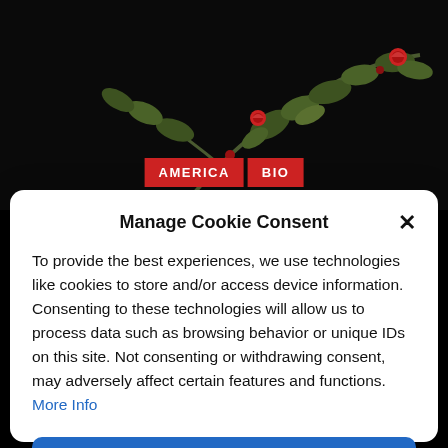[Figure (photo): Dark background with green plant branches and red flower buds photographed against black background. Two red label badges reading AMERICA and BIO are overlaid near the center-bottom of the image.]
Manage Cookie Consent
To provide the best experiences, we use technologies like cookies to store and/or access device information. Consenting to these technologies will allow us to process data such as browsing behavior or unique IDs on this site. Not consenting or withdrawing consent, may adversely affect certain features and functions. More Info